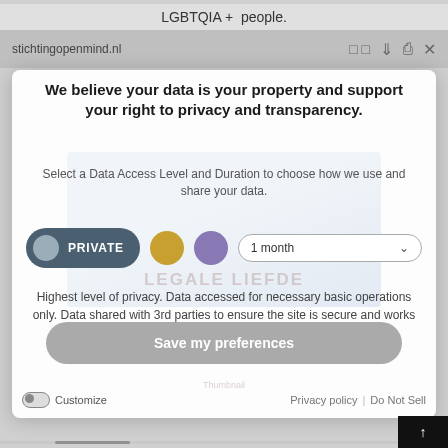LGBTQIA + people.
stichtingopenmind.nl
We believe your data is your property and support your right to privacy and transparency.
Select a Data Access Level and Duration to choose how we use and share your data.
[Figure (screenshot): Privacy consent dialog with PRIVATE toggle button selected, gold dot, purple dot, and 1 month duration selector]
Highest level of privacy. Data accessed for necessary basic operations only. Data shared with 3rd parties to ensure the site is secure and works on your device
Save my preferences
Customize | Privacy policy | Do Not Sell